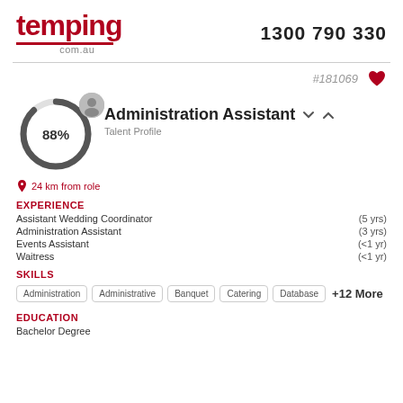[Figure (logo): temping.com.au logo in red with underline]
1300 790 330
#181069
[Figure (other): Heart icon in red]
[Figure (other): Circular progress ring showing 88% with avatar icon]
Administration Assistant
Talent Profile
24 km from role
EXPERIENCE
Assistant Wedding Coordinator  (5 yrs)
Administration Assistant  (3 yrs)
Events Assistant  (<1 yr)
Waitress  (<1 yr)
SKILLS
Administration  Administrative  Banquet  Catering  Database  +12 More
EDUCATION
Bachelor Degree